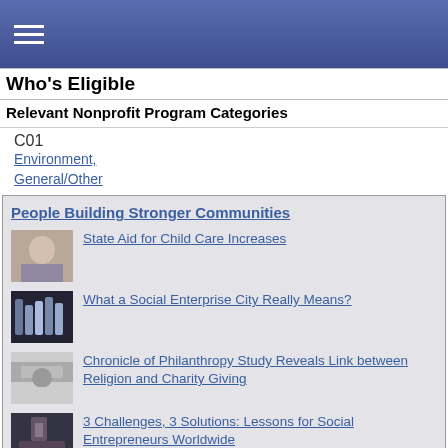☰ (navigation menu)
Who's Eligible
Relevant Nonprofit Program Categories
C01
Environment, General/Other
People Building Stronger Communities
State Aid for Child Care Increases
What a Social Enterprise City Really Means?
Chronicle of Philanthropy Study Reveals Link between Religion and Charity Giving
3 Challenges, 3 Solutions: Lessons for Social Entrepreneurs Worldwide
Awards Event Honors Outstanding Individuals for Civic